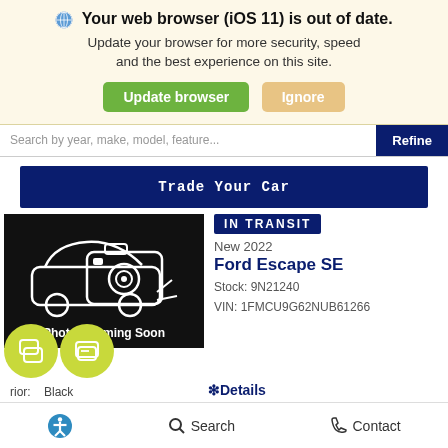🌐 Your web browser (iOS 11) is out of date. Update your browser for more security, speed and the best experience on this site. [Update browser] [Ignore]
Search by year, make, model, feature...
Refine
Trade Your Car
[Figure (screenshot): Photos Coming Soon placeholder image showing a car and camera icon on black background]
IN TRANSIT
New 2022
Ford Escape SE
Stock: 9N21240
VIN: 1FMCU9G62NUB61266
rior: Black
llic
Interior: Dark Earth Gray
❷Details
MSRP    $33,185
Accessibility  Search  Contact